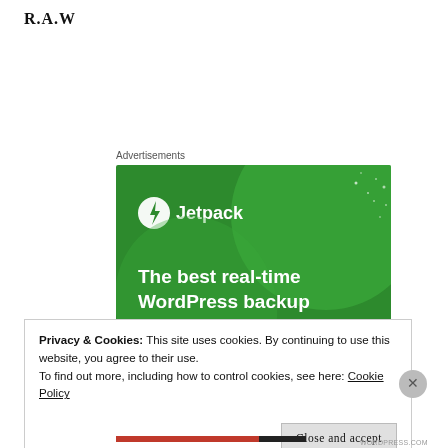R.A.W
Advertisements
[Figure (illustration): Jetpack advertisement banner with green background showing Jetpack logo and text 'The best real-time WordPress backup plugin' with a 'Back up your site' button]
Privacy & Cookies: This site uses cookies. By continuing to use this website, you agree to their use.
To find out more, including how to control cookies, see here: Cookie Policy
Close and accept